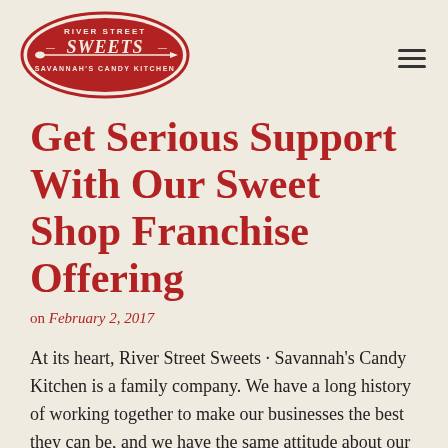[Figure (logo): River Street Sweets · Savannah's Candy Kitchen logo: red oval badge with spoon graphic and decorative text]
Get Serious Support With Our Sweet Shop Franchise Offering
on February 2, 2017
At its heart, River Street Sweets · Savannah's Candy Kitchen is a family company. We have a long history of working together to make our businesses the best they can be, and we have the same attitude about our franchisees. Investors who buy our candy store for sale find that we approach every store as